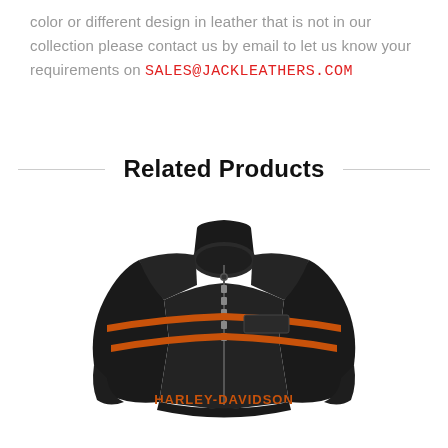color or different design in leather that is not in our collection please contact us by email to let us know your requirements on SALES@JACKLEATHERS.COM
Related Products
[Figure (photo): A black leather Harley-Davidson motorcycle jacket with orange stripe detailing and Harley-Davidson text embossed on the front]